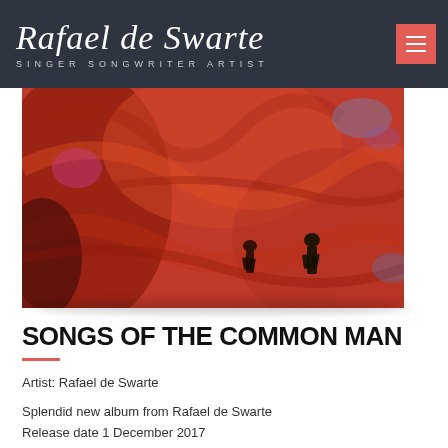Rafael de Swarte — SINGER SONGWRITER ARTIST
[Figure (photo): Album art for Songs of the Common Man — aerial view of a red textured surface with two silhouetted figures]
SONGS OF THE COMMON MAN
Artist: Rafael de Swarte
Splendid new album from Rafael de Swarte
Release date 1 December 2017
New album of ten songs written and performed by Rafael de Swarte accompanied by many Finnish musicians from Turku area.